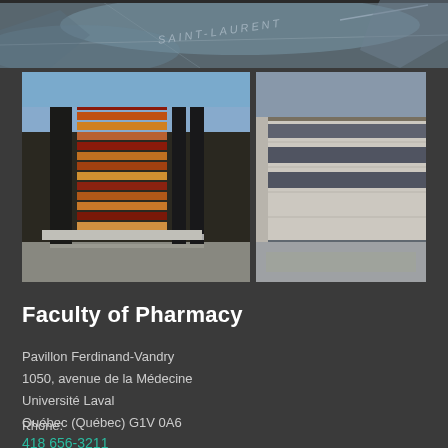[Figure (map): Map strip showing Saint-Laurent area label with geographic map background in grey-blue tones]
[Figure (photo): Two building photos side by side: left shows Faculty of Pharmacy building with colorful horizontal brise-soleil facade elements in red, orange, brown and yellow; right shows a beige stone building exterior with horizontal window strips]
Faculty of Pharmacy
Pavillon Ferdinand-Vandry
1050, avenue de la Médecine
Université Laval
Québec (Québec) G1V 0A6
Phone:
418 656-3211